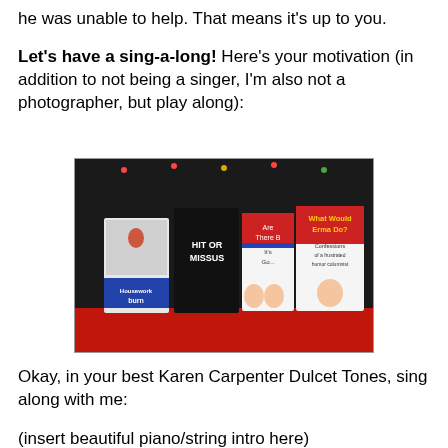he was unable to help. That means it's up to you.
Let's have a sing-a-long! Here's your motivation (in addition to not being a singer, I'm also not a photographer, but play along):
[Figure (photo): Photo of several books displayed together on a red surface with Christmas lights in background. Books visible include 'Hit or Missus', 'Are There B... It's G...' (partially visible), 'What Would Erma Do? Confessions of a frustrated humor columnist', and another book with 'burn' visible.]
Okay, in your best Karen Carpenter Dulcet Tones, sing along with me:
(insert beautiful piano/string intro here)